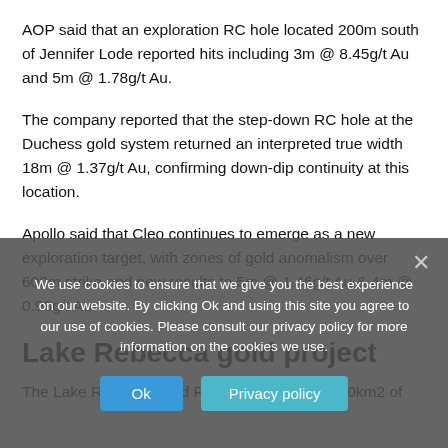AOP said that an exploration RC hole located 200m south of Jennifer Lode reported hits including 3m @ 8.45g/t Au and 5m @ 1.78g/t Au.
The company reported that the step-down RC hole at the Duchess gold system returned an interpreted true width 18m @ 1.37g/t Au, confirming down-dip continuity at this location.
Apollo said that Cleo continues to emerge as a new exploration target, with zones of gold anomalism over 600m strike and new results to 5m @ 1.46g/t Au & 4m @ 0.98g/t Au.
Lake Rebecca gold project
The Lake Rebecca Gold Project comprises ~160km2 of
We use cookies to ensure that we give you the best experience on our website. By clicking Ok and using this site you agree to our use of cookies. Please consult our privacy policy for more information on the cookies we use.